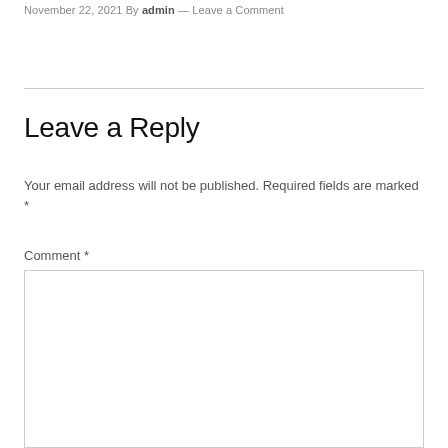November 22, 2021 By admin — Leave a Comment
Leave a Reply
Your email address will not be published. Required fields are marked *
Comment *